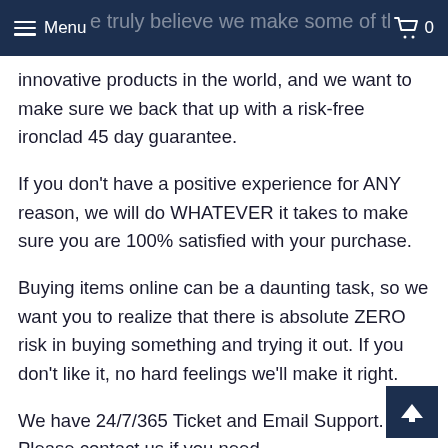Menu | 0
e truly believe we make some of the most innovative products in the world, and we want to make sure we back that up with a risk-free ironclad 45 day guarantee.
If you don't have a positive experience for ANY reason, we will do WHATEVER it takes to make sure you are 100% satisfied with your purchase.
Buying items online can be a daunting task, so we want you to realize that there is absolute ZERO risk in buying something and trying it out. If you don't like it, no hard feelings we'll make it right.
We have 24/7/365 Ticket and Email Support. Please contact us if you need